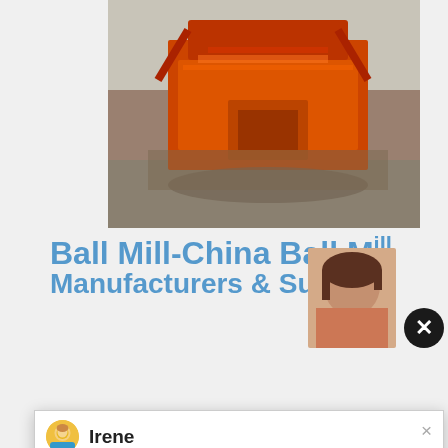[Figure (photo): Orange/red industrial crushing machine photographed outdoors against sky background]
Ball Mill-China Ball Mill Manufacturers & Supp
[Figure (screenshot): Chat popup widget showing agent named Irene. Message reads: Please choose the language you prefer:1.English 2.Español 3.русский 4.Français 5.bahasa Indonesia 6. عربسعربى. Below shows product list text and CHAT ONLINE button.]
Main Products. Flotation Cell, Ball Mill, Jaw Crusher, Crusher, Roller Crusher, Cone Crusher, Rotary Kiln, W
Have any requests, click here
1
Enquiry
limingjlmofen@sina.com
[Figure (photo): Industrial machinery photo at bottom of page, partially visible]